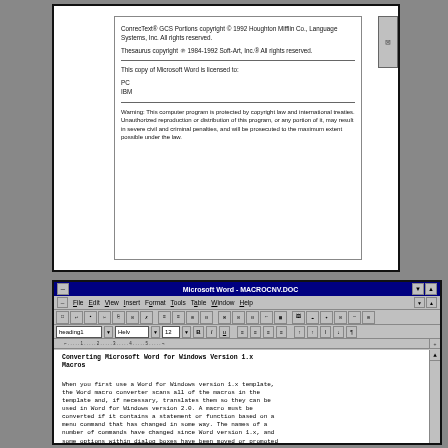[Figure (screenshot): Microsoft Word About dialog showing copyright information for ConnecText GCS, Thesaurus, and license information for PC IBM user, with warning about copyright law.]
[Figure (screenshot): Microsoft Word for Windows application window showing MACROCNV.DOC with title bar, menu bar (File Edit View Insert Format Tools Table Window Help), toolbars, and document content about Converting Microsoft Word for Windows Version 1.x Macros.]
Converting Microsoft Word for Windows Version 1.x Macros
When you first use a Word for Windows version 1.x template, the Word macro converter scans all of the macros in the template and, if necessary, translates them so they can be used in Word for Windows version 2.0. A macro must be converted if it contains a statement or function based on a menu command that has changed in some way. The names of a number of commands have changed since Word version 1.x, and some options within dialog boxes have been moved or promoted to the command level.
Word converts the macros in a template the first time you open the template, create a new document based on it, or attach the template to a document using the Template command (File menu). You must save the template to save the